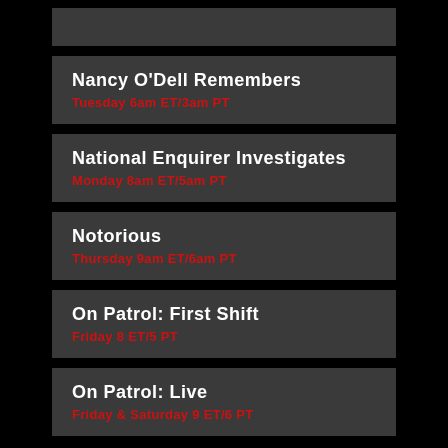Nancy O'Dell Remembers
Tuesday 6am ET/3am PT
National Enquirer Investigates
Monday 8am ET/5am PT
Notorious
Thursday 9am ET/6am PT
On Patrol: First Shift
Friday 8 ET/5 PT
On Patrol: Live
Friday & Saturday 9 ET/6 PT